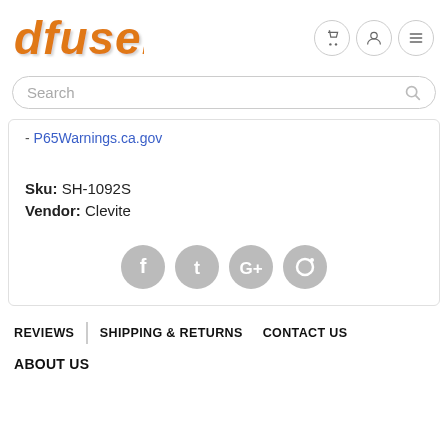[Figure (logo): DFuser logo in orange italic bold text with drop shadow]
Search
- P65Warnings.ca.gov
Sku: SH-1092S
Vendor: Clevite
[Figure (other): Social media sharing icons: Facebook, Twitter, Google+, Pinterest]
REVIEWS  SHIPPING & RETURNS  CONTACT US
ABOUT US